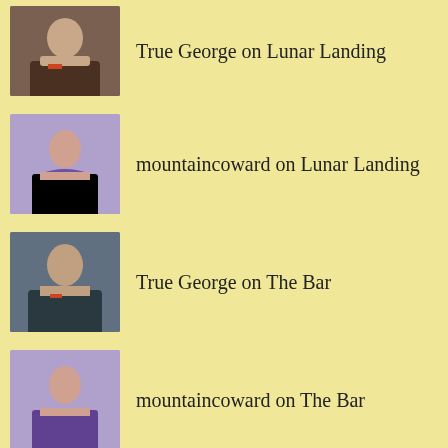True George on Lunar Landing
mountaincoward on Lunar Landing
True George on The Bar
mountaincoward on The Bar
FOLLOW TRUE_GEORGE ON TWITTER
[Figure (screenshot): Twitter widget showing Tweets from @true_george with a tweet by george (@true_george · 21h) and a Twitter bird icon]